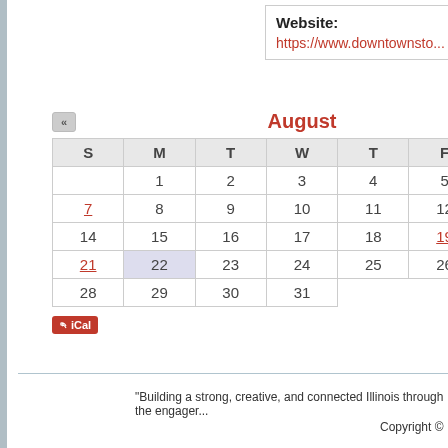Website: https://www.downtownsto...
[Figure (other): August calendar widget showing dates 1-31, with days 6, 7, 19, 20, 21 in red (linked), day 22 highlighted with grey background, navigation arrows, and iCal button]
"Building a strong, creative, and connected Illinois through the engager..."
Copyright ©